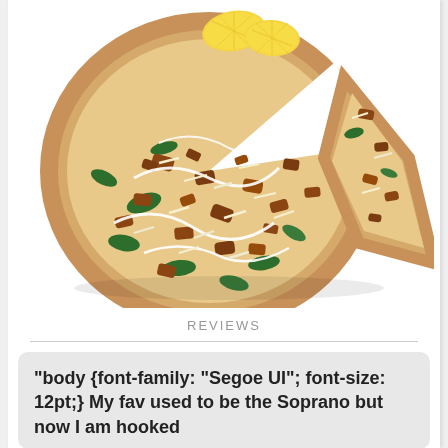[Figure (photo): A round pizza with a slice pulled out, topped with spinach, chopped toppings, shredded cheese, drizzled with white sauce, and garnished with lemon wedges on top. White background.]
REVIEWS
"body {font-family: "Segoe UI"; font-size: 12pt;} My fav used to be the Soprano but now I am hooked